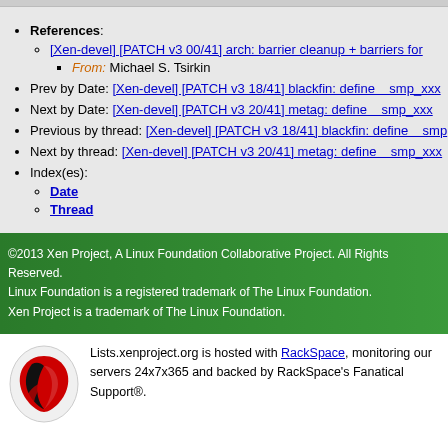References:
[Xen-devel] [PATCH v3 00/41] arch: barrier cleanup + barriers for
From: Michael S. Tsirkin
Prev by Date: [Xen-devel] [PATCH v3 18/41] blackfin: define smp_xxx
Next by Date: [Xen-devel] [PATCH v3 20/41] metag: define smp_xxx
Previous by thread: [Xen-devel] [PATCH v3 18/41] blackfin: define smp
Next by thread: [Xen-devel] [PATCH v3 20/41] metag: define smp_xxx
Index(es):
Date
Thread
©2013 Xen Project, A Linux Foundation Collaborative Project. All Rights Reserved. Linux Foundation is a registered trademark of The Linux Foundation. Xen Project is a trademark of The Linux Foundation.
Lists.xenproject.org is hosted with RackSpace, monitoring our servers 24x7x365 and backed by RackSpace's Fanatical Support®.